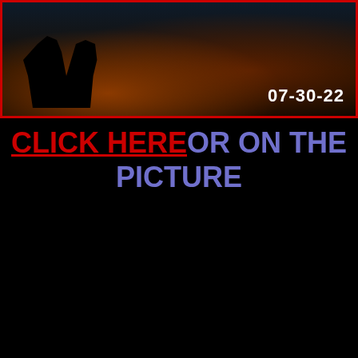[Figure (photo): Dark scene photo with silhouette of person, date stamp 07-30-22, red border]
CLICK HERE OR ON THE PICTURE
[Figure (infographic): Dark background image with text GAIN OF FUNCTION INVESTIGATED BY THE FBI! and photo of older man at microphone, red border]